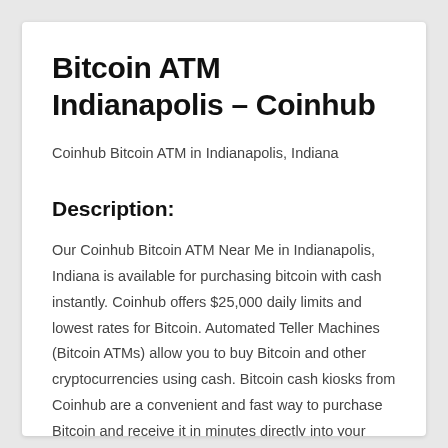Bitcoin ATM Indianapolis – Coinhub
Coinhub Bitcoin ATM in Indianapolis, Indiana
Description:
Our Coinhub Bitcoin ATM Near Me in Indianapolis, Indiana is available for purchasing bitcoin with cash instantly. Coinhub offers $25,000 daily limits and lowest rates for Bitcoin. Automated Teller Machines (Bitcoin ATMs) allow you to buy Bitcoin and other cryptocurrencies using cash. Bitcoin cash kiosks from Coinhub are a convenient and fast way to purchase Bitcoin and receive it in minutes directly into your wallet. Coinhub Bitcoin machines can be used quickly